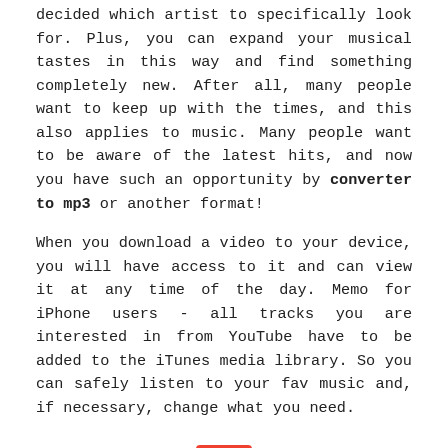decided which artist to specifically look for. Plus, you can expand your musical tastes in this way and find something completely new. After all, many people want to keep up with the times, and this also applies to music. Many people want to be aware of the latest hits, and now you have such an opportunity by converter to mp3 or another format!
When you download a video to your device, you will have access to it and can view it at any time of the day. Memo for iPhone users - all tracks you are interested in from YouTube have to be added to the iTunes media library. So you can safely listen to your fav music and, if necessary, change what you need.
[Figure (illustration): A large red downward-pointing arrow icon centered on the lower portion of the page.]